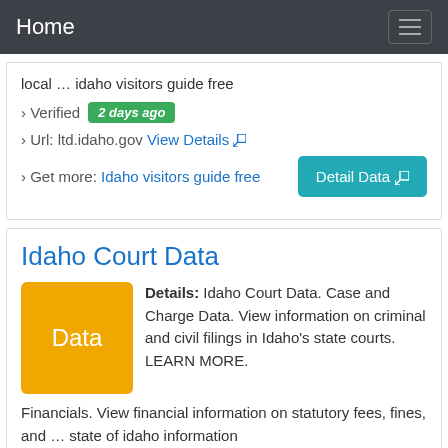Home
local … idaho visitors guide free
› Verified 2 days ago
› Url: ltd.idaho.gov View Details
› Get more: Idaho visitors guide free
Idaho Court Data
Details: Idaho Court Data. Case and Charge Data. View information on criminal and civil filings in Idaho's state courts. LEARN MORE. Financials. View financial information on statutory fees, fines, and … state of idaho information